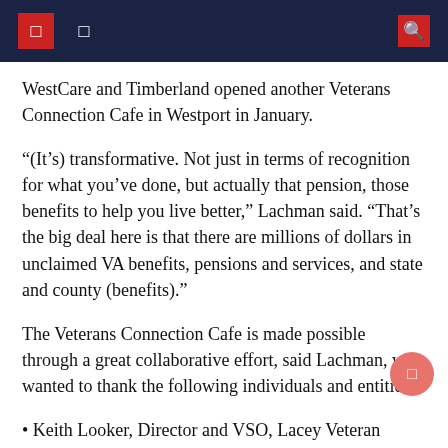WestCare and Timberland opened another Veterans Connection Cafe in Westport in January.
“(It’s) transformative. Not just in terms of recognition for what you’ve done, but actually that pension, those benefits to help you live better,” Lachman said. “That’s the big deal here is that there are millions of dollars in unclaimed VA benefits, pensions and services, and state and county (benefits).”
The Veterans Connection Cafe is made possible through a great collaborative effort, said Lachman, who wanted to thank the following individuals and entities:
• Keith Looker, Director and VSO, Lacey Veteran Services Hub
• Gary Walker, American Legion Post 94, Lacey